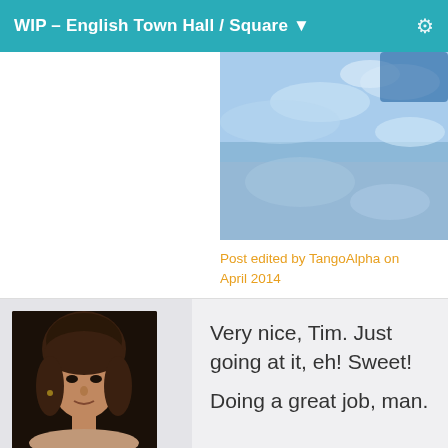WIP – English Town Hall / Square
[Figure (photo): Partial image showing a blue sky with clouds, appears to be cut off at top]
Post edited by TangoAlpha on April 2014
[Figure (photo): Profile avatar of Dartanbeck — young man with long brown hair, shirtless, dark background]
Dartanbeck
Posts: 18,114
April 2014
Very nice, Tim. Just going at it, eh! Sweet!
Doing a great job, man.
[Figure (photo): Partial profile avatar visible at bottom, appears to show a person]
One small issue I've got with